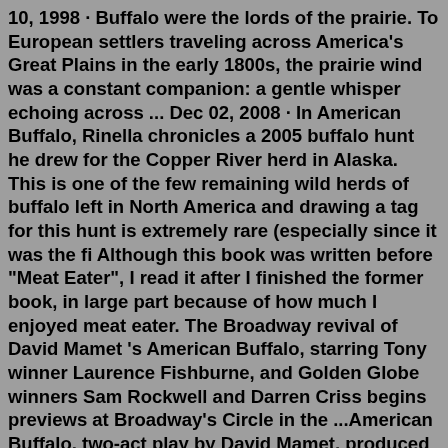10, 1998 · Buffalo were the lords of the prairie. To European settlers traveling across America's Great Plains in the early 1800s, the prairie wind was a constant companion: a gentle whisper echoing across ... Dec 02, 2008 · In American Buffalo, Rinella chronicles a 2005 buffalo hunt he drew for the Copper River herd in Alaska. This is one of the few remaining wild herds of buffalo left in North America and drawing a tag for this hunt is extremely rare (especially since it was the fi Although this book was written before "Meat Eater", I read it after I finished the former book, in large part because of how much I enjoyed meat eater. The Broadway revival of David Mamet 's American Buffalo, starring Tony winner Laurence Fishburne, and Golden Globe winners Sam Rockwell and Darren Criss begins previews at Broadway's Circle in the ...American Buffalo, two-act play by David Mamet, produced in 1975 and published in 1976. With sparse action and vivid dialogue, it examines mistrust and dishonesty among the ...